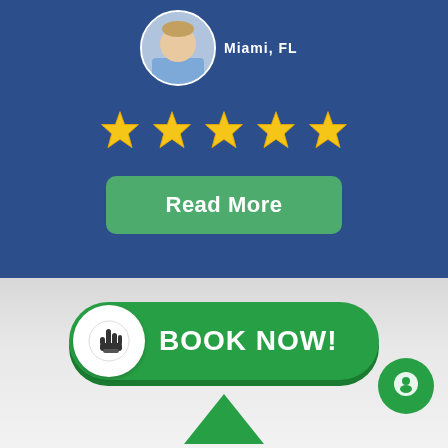[Figure (screenshot): Blue card section showing a partial profile photo, location text 'Miami, FL', five gold star rating icons, and a green 'Read More' button]
[Figure (screenshot): Gray/white section showing a large green 'BOOK NOW!' button with a hand-cursor icon on the left circle, a green chat bubble circle on the right, and a partial green upward-pointing arrow at the bottom]